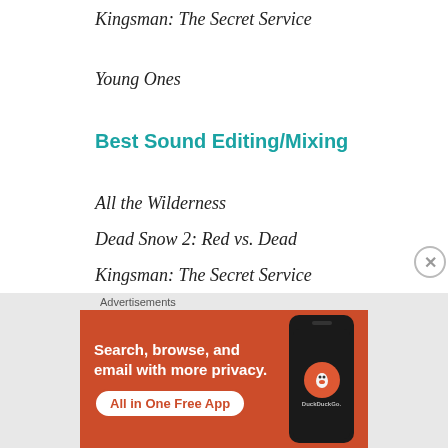Kingsman: The Secret Service
Young Ones
Best Sound Editing/Mixing
All the Wilderness
Dead Snow 2: Red vs. Dead
Kingsman: The Secret Service
Young Ones
Jupiter Ascending
[Figure (other): DuckDuckGo advertisement banner: 'Search, browse, and email with more privacy. All in One Free App' with phone graphic and DuckDuckGo logo]